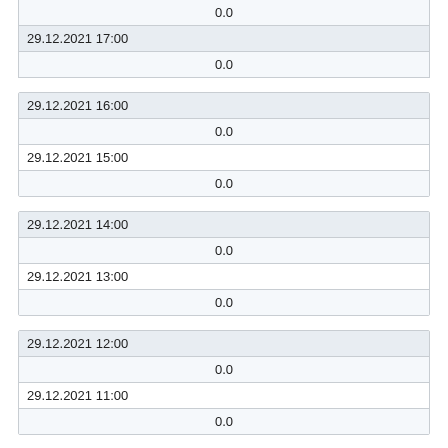| 29.12.2021 18:00 |
| 0.0 |
| 29.12.2021 17:00 |
| 0.0 |
| 29.12.2021 16:00 |
| 0.0 |
| 29.12.2021 15:00 |
| 0.0 |
| 29.12.2021 14:00 |
| 0.0 |
| 29.12.2021 13:00 |
| 0.0 |
| 29.12.2021 12:00 |
| 0.0 |
| 29.12.2021 11:00 |
| 0.0 |